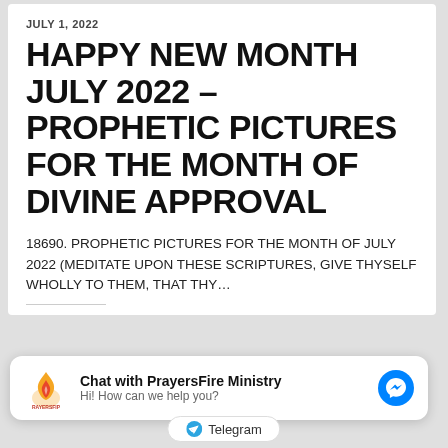JULY 1, 2022
HAPPY NEW MONTH JULY 2022 – PROPHETIC PICTURES FOR THE MONTH OF DIVINE APPROVAL
18690. PROPHETIC PICTURES FOR THE MONTH OF JULY 2022 (MEDITATE UPON THESE SCRIPTURES, GIVE THYSELF WHOLLY TO THEM, THAT THY…
[Figure (logo): PrayersFire Ministry logo — flame icon with orange and yellow colors, text RAYERSFIP below]
Chat with PrayersFire Ministry
Hi! How can we help you?
[Figure (logo): Facebook Messenger blue circle icon]
Telegram